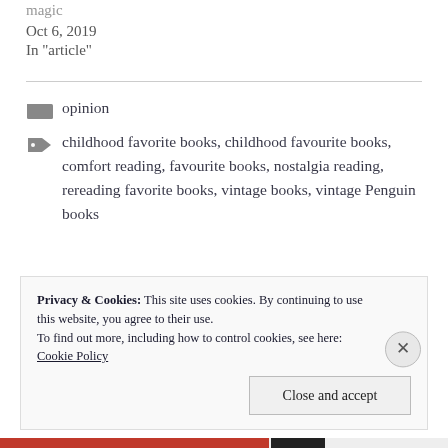magic
Oct 6, 2019
In "article"
opinion
childhood favorite books, childhood favourite books, comfort reading, favourite books, nostalgia reading, rereading favorite books, vintage books, vintage Penguin books
Privacy & Cookies: This site uses cookies. By continuing to use this website, you agree to their use.
To find out more, including how to control cookies, see here: Cookie Policy
Close and accept